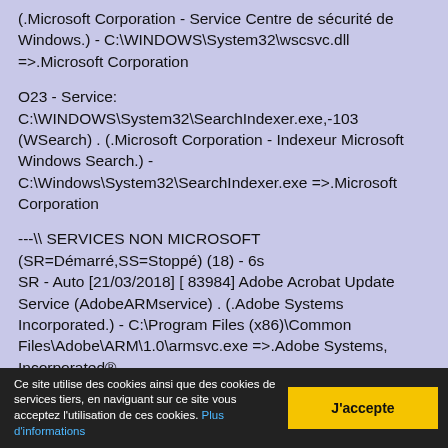(.Microsoft Corporation - Service Centre de sécurité de Windows.) - C:\WINDOWS\System32\wscsvc.dll =>.Microsoft Corporation
O23 - Service: C:\WINDOWS\System32\SearchIndexer.exe,-103 (WSearch) . (.Microsoft Corporation - Indexeur Microsoft Windows Search.) - C:\Windows\System32\SearchIndexer.exe =>.Microsoft Corporation
---\ SERVICES NON MICROSOFT (SR=Démarré,SS=Stoppé) (18) - 6s
SR - Auto [21/03/2018] [ 83984] Adobe Acrobat Update Service (AdobeARMservice) . (.Adobe Systems Incorporated.) - C:\Program Files (x86)\Common Files\Adobe\ARM\1.0\armsvc.exe =>.Adobe Systems, Incorporated®
SS - Demand [23/08/2018] [ 335872] Adobe Flash Player Update Service (AdobeFlashPlayerUpdateSvc) . (.Adobe Systems Incorporated.) - C:\Windows\SysWOW64\Macromed\Flash\FlashPlayerUpdateSer...
Ce site utilise des cookies ainsi que des cookies de services tiers, en naviguant sur ce site vous acceptez l'utilisation de ces cookies. Plus d'informations